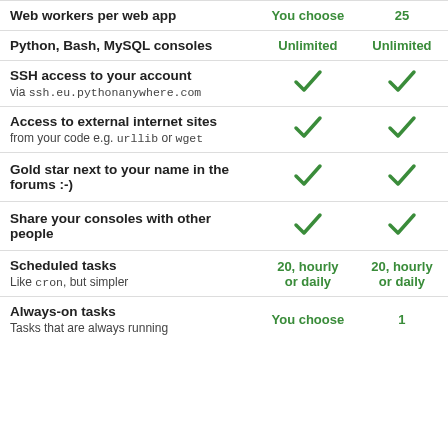| Feature | You choose / Col2 | 25 / Col3 |
| --- | --- | --- |
| Web workers per web app | You choose | 25 |
| Python, Bash, MySQL consoles | Unlimited | Unlimited |
| SSH access to your account
via ssh.eu.pythonanywhere.com | ✓ | ✓ |
| Access to external internet sites
from your code e.g. urllib or wget | ✓ | ✓ |
| Gold star next to your name in the forums :-) | ✓ | ✓ |
| Share your consoles with other people | ✓ | ✓ |
| Scheduled tasks
Like cron, but simpler | 20, hourly or daily | 20, hourly or daily |
| Always-on tasks
Tasks that are always running | You choose | 1 |